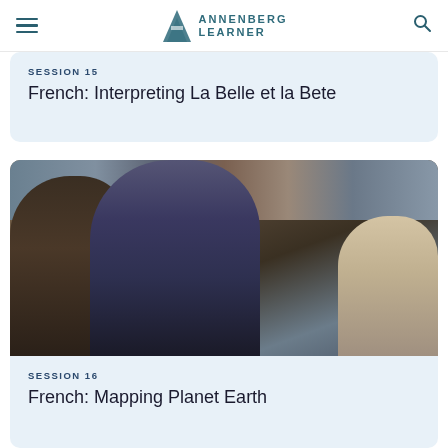Annenberg Learner
SESSION 15
French: Interpreting La Belle et la Bete
[Figure (photo): A man in a dark navy shirt leaning toward students in a classroom, with bookshelves in the background. Two other people are partially visible on either side.]
SESSION 16
French: Mapping Planet Earth